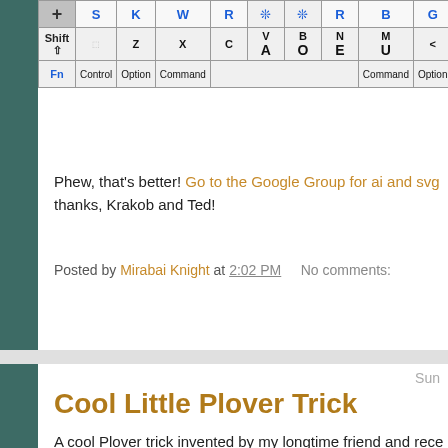[Figure (screenshot): Partial keyboard layout image showing Shift, Fn, Control, Option, Command keys and letter keys with blue steno letters overlaid.]
Phew, that's better! Go to the Google Group for ai and svg thanks, Krakob and Ted!
Posted by Mirabai Knight at 2:02 PM    No comments:
Sun
Cool Little Plover Trick
A cool Plover trick invented by my longtime friend and recent learner Martin: